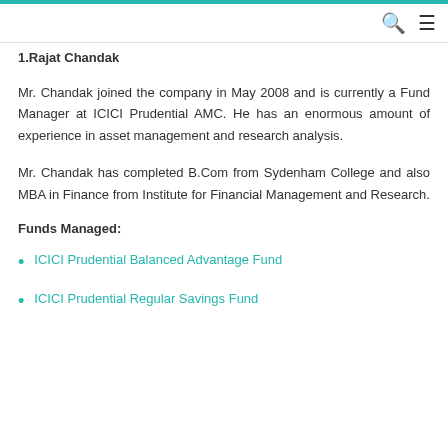1.Rajat Chandak
Mr. Chandak joined the company in May 2008 and is currently a Fund Manager at ICICI Prudential AMC. He has an enormous amount of experience in asset management and research analysis.
Mr. Chandak has completed B.Com from Sydenham College and also MBA in Finance from Institute for Financial Management and Research.
Funds Managed:
ICICI Prudential Balanced Advantage Fund
ICICI Prudential Regular Savings Fund